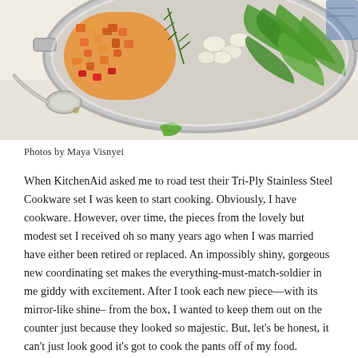[Figure (photo): Overhead shot of a stainless steel pot filled with colorful vegetables including diced orange carrots, sliced garlic, fresh green herbs/arugula, and other vegetables. A ladle rests beside the pot on a white surface.]
Photos by Maya Visnyei
When KitchenAid asked me to road test their Tri-Ply Stainless Steel Cookware set I was keen to start cooking. Obviously, I have cookware. However, over time, the pieces from the lovely but modest set I received oh so many years ago when I was married have either been retired or replaced. An impossibly shiny, gorgeous new coordinating set makes the everything-must-match-soldier in me giddy with excitement. After I took each new piece—with its mirror-like shine– from the box, I wanted to keep them out on the counter just because they looked so majestic. But, let's be honest, it can't just look good it's got to cook the pants off of my food.